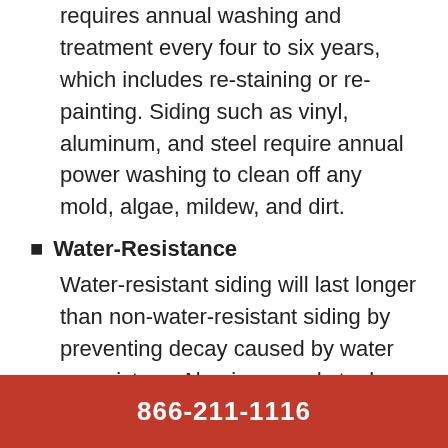requires annual washing and treatment every four to six years, which includes re-staining or re-painting. Siding such as vinyl, aluminum, and steel require annual power washing to clean off any mold, algae, mildew, and dirt.
Water-Resistance
Water-resistant siding will last longer than non-water-resistant siding by preventing decay caused by water or moisture. Aluminum and steel siding are water-resistant, whereas vinyl and wood are not. However, you can waterproof your wood siding to prevent water from coming into direct contact with the wood.
866-211-1116